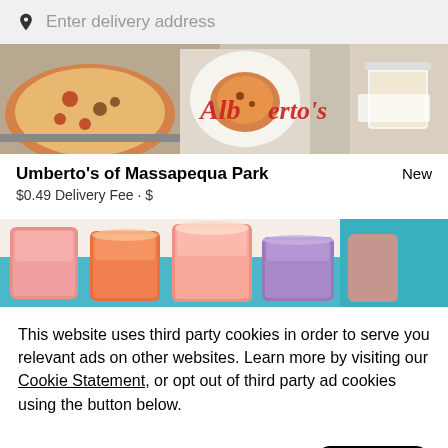Enter delivery address
[Figure (photo): Food photo showing pizza and dishes from Umberto's]
Umberto's of Massapequa Park
New
$0.49 Delivery Fee • $
[Figure (photo): Photo of colorful juice drinks in glasses]
This website uses third party cookies in order to serve you relevant ads on other websites. Learn more by visiting our Cookie Statement, or opt out of third party ad cookies using the button below.
Opt out
Got it